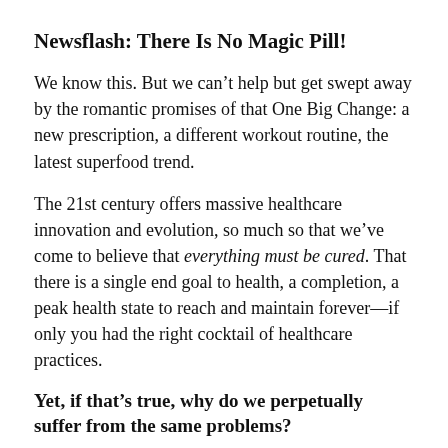Newsflash: There Is No Magic Pill!
We know this. But we can't help but get swept away by the romantic promises of that One Big Change: a new prescription, a different workout routine, the latest superfood trend.
The 21st century offers massive healthcare innovation and evolution, so much so that we've come to believe that everything must be cured. That there is a single end goal to health, a completion, a peak health state to reach and maintain forever—if only you had the right cocktail of healthcare practices.
Yet, if that's true, why do we perpetually suffer from the same problems?